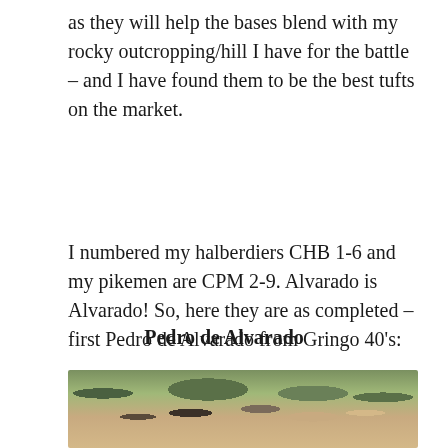as they will help the bases blend with my rocky outcropping/hill I have for the battle – and I have found them to be the best tufts on the market.
I numbered my halberdiers CHB 1-6 and my pikemen are CPM 2-9. Alvarado is Alvarado! So, here they are as completed – first Pedro de Alvarado from Gringo 40's:
Pedro de Alvarado
[Figure (photo): Photograph of painted miniature figures of Pedro de Alvarado, showing figures on rocky terrain with green foliage in the background.]